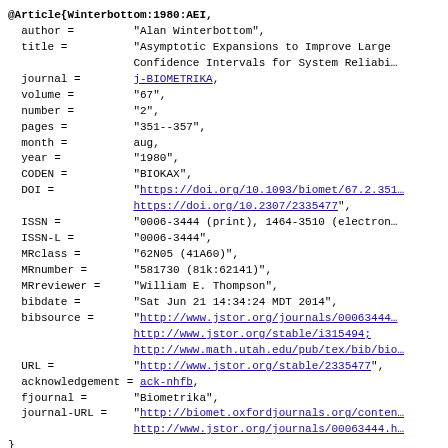@Article{Winterbottom:1980:AEI, author = "Alan Winterbottom", title = "Asymptotic Expansions to Improve Large Confidence Intervals for System Reliabi..., journal = j-BIOMETRIKA, volume = "67", number = "2", pages = "351--357", month = aug, year = "1980", CODEN = "BIOKAX", DOI = "https://doi.org/10.1093/biomet/67.2.351 https://doi.org/10.2307/2335477", ISSN = "0006-3444 (print), 1464-3510 (electron...", ISSN-L = "0006-3444", MRclass = "62N05 (41A60)", MRnumber = "581730 (81k:62141)", MRreviewer = "William E. Thompson", bibdate = "Sat Jun 21 14:34:24 MDT 2014", bibsource = "http://www.jstor.org/journals/00063444 http://www.jstor.org/stable/i315494; http://www.math.utah.edu/pub/tex/bib/bio...", URL = "http://www.jstor.org/stable/2335477", acknowledgement = ack-nhfb, fjournal = "Biometrika", journal-URL = "http://biomet.oxfordjournals.org/conter... http://www.jstor.org/journals/00063444.h..." }
@Article{Poskitt:1980:TSF,